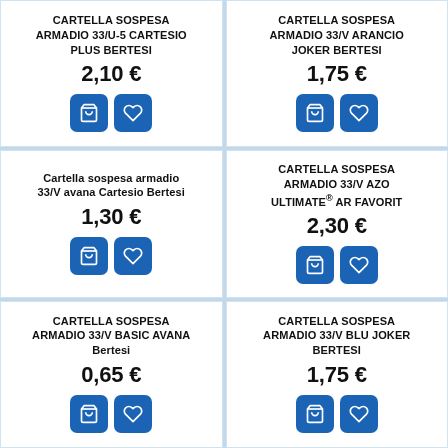CARTELLA SOSPESA ARMADIO 33/U-5 CARTESIO PLUS BERTESI
2,10 €
CARTELLA SOSPESA ARMADIO 33/V ARANCIO JOKER BERTESI
1,75 €
Cartella sospesa armadio 33/V avana Cartesio Bertesi
1,30 €
CARTELLA SOSPESA ARMADIO 33/V AZO ULTIMATE® AR Favorit
2,30 €
CARTELLA SOSPESA ARMADIO 33/V BASIC AVANA Bertesi
0,65 €
CARTELLA SOSPESA ARMADIO 33/V BLU JOKER BERTESI
1,75 €